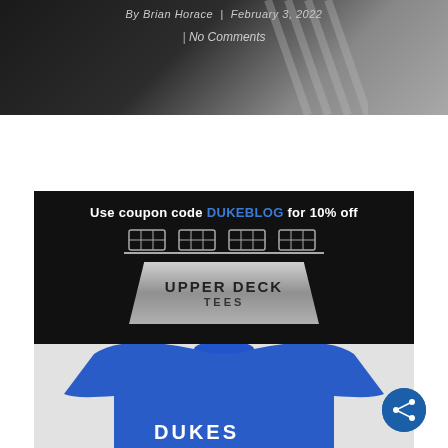By Brian Horace | February 3, 2022 | No Comments
[Figure (photo): Upper Deck Tees advertisement banner with scoreboard graphic and trapezoid metallic sign reading UPPER DECK TEES, with text: Use coupon code DUKEBLOG for 10% off]
[Figure (photo): Blue t-shirt partially visible at the bottom of the page]